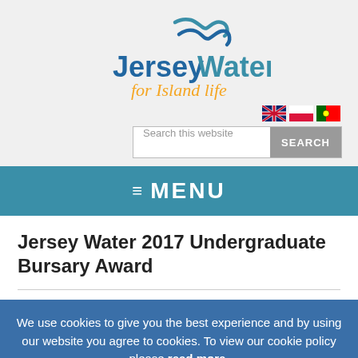[Figure (logo): Jersey Water logo with wave icon and tagline 'for Island life' in orange cursive]
[Figure (infographic): Three country flag icons: UK, Poland, Portugal]
Search this website
≡ MENU
Jersey Water 2017 Undergraduate Bursary Award
We use cookies to give you the best experience and by using our website you agree to cookies. To view our cookie policy please read more. Accept Cookies